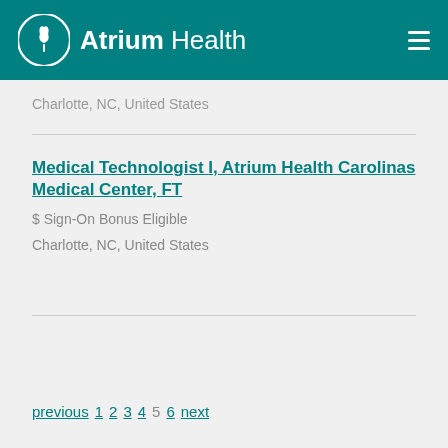Atrium Health
Charlotte, NC, United States
Medical Technologist I, Atrium Health Carolinas Medical Center, FT
$ Sign-On Bonus Eligible
Charlotte, NC, United States
previous 1 2 3 4 5 6 next